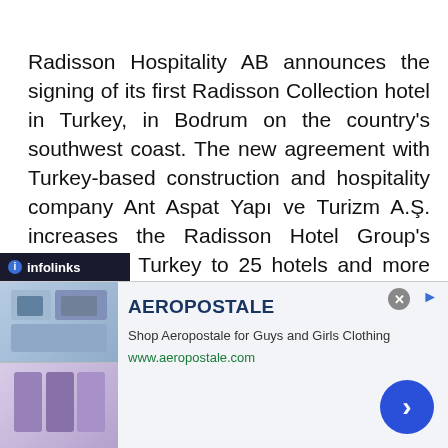Radisson Hospitality AB announces the signing of its first Radisson Collection hotel in Turkey, in Bodrum on the country's southwest coast. The new agreement with Turkey-based construction and hospitality company Ant Aspat Yapı ve Turizm A.Ş. increases the Radisson Hotel Group's portfolio in Turkey to 25 hotels and more than 4,600 rooms in operation and under
[Figure (screenshot): Infolinks advertising bar at bottom left with blue circle 'i' icon and 'infolinks' text on dark background, followed by an Aeropostale advertisement banner showing clothing images, brand name 'AEROPOSTALE', tagline 'Shop Aeropostale for Guys and Girls Clothing', URL www.aeropostale.com, close button, and blue arrow CTA button]